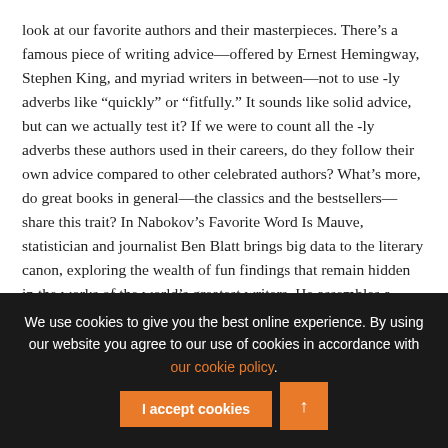look at our favorite authors and their masterpieces. There’s a famous piece of writing advice—offered by Ernest Hemingway, Stephen King, and myriad writers in between—not to use -ly adverbs like “quickly” or “fitfully.” It sounds like solid advice, but can we actually test it? If we were to count all the -ly adverbs these authors used in their careers, do they follow their own advice compared to other celebrated authors? What’s more, do great books in general—the classics and the bestsellers—share this trait? In Nabokov’s Favorite Word Is Mauve, statistician and journalist Ben Blatt brings big data to the literary canon, exploring the wealth of fun findings that remain hidden in the works of the world’s greatest writers. He assembles a database of thousands of books and hundreds of millions of words, and starts asking
We use cookies to give you the best online experience. By using our website you agree to our use of cookies in accordance with our cookie policy.